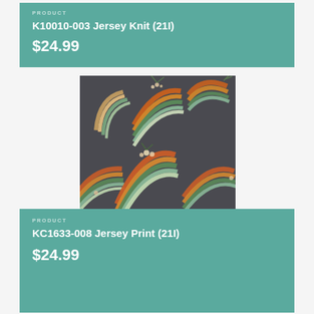PRODUCT
K10010-003 Jersey Knit (21I)
$24.99
[Figure (photo): Dark grey fabric swatch with repeating floral rainbow pattern on charcoal jersey knit fabric. Rainbows are shown in green, orange, cream and terracotta tones with small floral/leaf embellishments.]
PRODUCT
KC1633-008 Jersey Print (21I)
$24.99